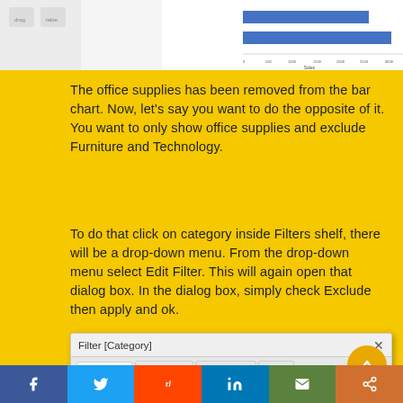[Figure (screenshot): Partial screenshot of a Tableau bar chart with horizontal bars in blue, showing a chart with two bars, with x-axis labels for Sales values and a small control panel on the left.]
The office supplies has been removed from the bar chart. Now, let's say you want to do the opposite of it. You want to only show office supplies and exclude Furniture and Technology.
To do that click on category inside Filters shelf, there will be a drop-down menu. From the drop-down menu select Edit Filter. This will again open that dialog box. In the dialog box, simply check Exclude then apply and ok.
[Figure (screenshot): Screenshot of Tableau Filter [Category] dialog box showing General, Wildcard, Condition, Top tabs and radio buttons: Select from list, Custom value list, Use all.]